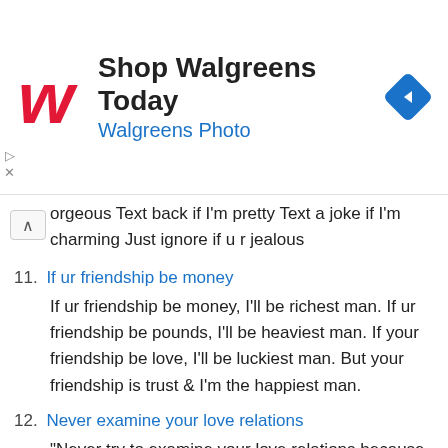[Figure (other): Walgreens advertisement banner with logo, 'Shop Walgreens Today' heading, 'Walgreens Photo' subheading, and a blue navigation arrow icon]
orgeous Text back if I'm pretty Text a joke if I'm charming Just ignore if u r jealous
11. If ur friendship be money
If ur friendship be money, I'll be richest man. If ur friendship be pounds, I'll be heaviest man. If your friendship be love, I'll be luckiest man. But your friendship is trust & I'm the happiest man.
12. Never examine your love relations
"Never try to examine your love relations because they are like diamonds when you hit them they don't break but may slip away from your life ... "